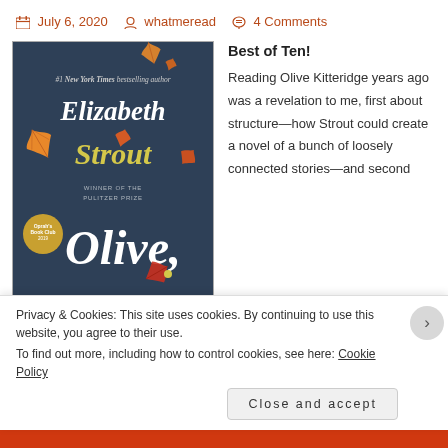July 6, 2020  whatmeread  4 Comments
[Figure (photo): Book cover of 'Olive' by Elizabeth Strout. Dark navy blue background with autumn leaves. Text reads: #1 New York Times bestselling author, Elizabeth Strout, Winner of the Pulitzer Prize, Olive. Oprah's Book Club badge visible.]
Best of Ten!
Reading Olive Kitteridge years ago was a revelation to me, first about structure—how Strout could create a novel of a bunch of loosely connected stories—and second
Privacy & Cookies: This site uses cookies. By continuing to use this website, you agree to their use.
To find out more, including how to control cookies, see here: Cookie Policy
Close and accept